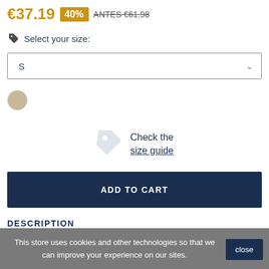€37.19  40%  ANTES €61.98
Select your size:
S
[Figure (illustration): Beige/tan color swatch circle]
Check the size guide
ADD TO CART
DESCRIPTION
This store uses cookies and other technologies so that we can improve your experience on our sites.
close